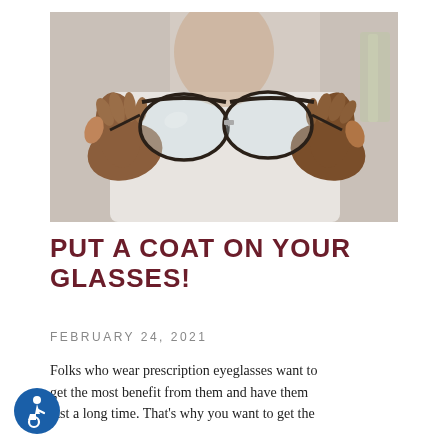[Figure (photo): A person holding up a pair of glasses with both hands toward the camera, face blurred in background, wearing a white shirt.]
PUT A COAT ON YOUR GLASSES!
FEBRUARY 24, 2021
Folks who wear prescription eyeglasses want to get the most benefit from them and have them last a long time. That's why you want to get the